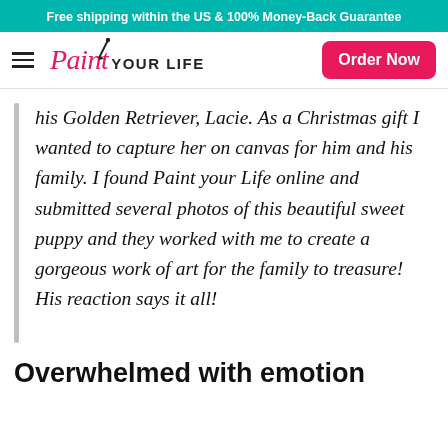Free shipping within the US & 100% Money-Back Guarantee
[Figure (logo): Paint YOUR LIFE logo with paintbrush icon and Order Now button]
his Golden Retriever, Lacie. As a Christmas gift I wanted to capture her on canvas for him and his family. I found Paint your Life online and submitted several photos of this beautiful sweet puppy and they worked with me to create a gorgeous work of art for the family to treasure! His reaction says it all!
Overwhelmed with emotion